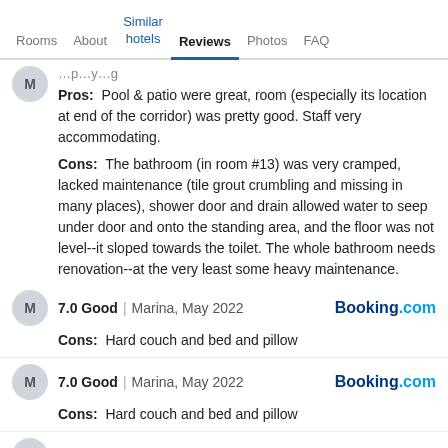Rooms | About | Similar hotels | Reviews | Photos | FAQ
Pros: Pool & patio were great, room (especially its location at end of the corridor) was pretty good. Staff very accommodating.
Cons: The bathroom (in room #13) was very cramped, lacked maintenance (tile grout crumbling and missing in many places), shower door and drain allowed water to seep under door and onto the standing area, and the floor was not level--it sloped towards the toilet. The whole bathroom needs renovation--at the very least some heavy maintenance.
7.0 Good | Marina, May 2022 — Booking.com
Cons: Hard couch and bed and pillow
7.0 Good | Marina, May 2022 — Booking.com
Cons: Hard couch and bed and pillow
7.0 Good | Lynda, May 2022 — Booking.com
Pros: Excellent location, nice pool and good size room.